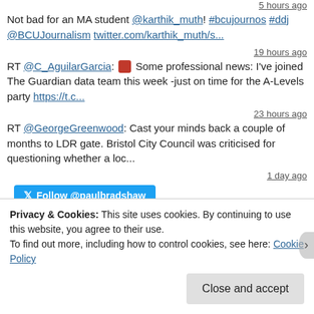5 hours ago
Not bad for an MA student @karthik_muth! #bcujournos #ddj @BCUJournalism twitter.com/karthik_muth/s...
19 hours ago
RT @C_AguilarGarcia: 🔴 Some professional news: I've joined The Guardian data team this week -just on time for the A-Levels party https://t.c...
23 hours ago
RT @GeorgeGreenwood: Cast your minds back a couple of months to LDR gate. Bristol City Council was criticised for questioning whether a loc...
1 day ago
Follow @paulbradshaw
Privacy & Cookies: This site uses cookies. By continuing to use this website, you agree to their use.
To find out more, including how to control cookies, see here: Cookie Policy
Close and accept